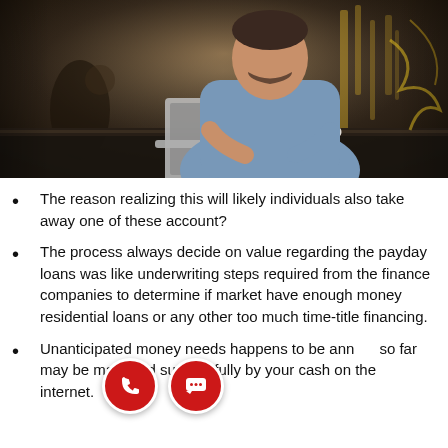[Figure (photo): Man in blue shirt working on a laptop at a dark bar/cafe counter, with a white coffee cup beside him. Dark moody background with decorative elements.]
The reason realizing this will likely individuals also take away one of these account?
The process always decide on value regarding the payday loans was like underwriting steps required from the finance companies to determine if market have enough money residential loans or any other too much time-title financing.
Unanticipated money needs happens to be ann... so far... may be managed successfully by your cash on the internet.